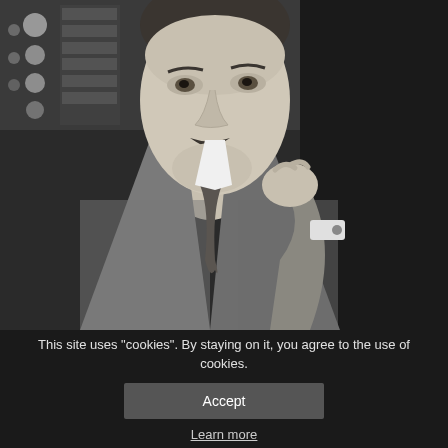[Figure (photo): Black and white vintage photograph of a man in a suit with a mustache, resting his chin on his hand in a thoughtful pose. The man appears to be Nikola Tesla, seated with laboratory equipment visible in the background.]
This site uses "cookies". By staying on it, you agree to the use of cookies.
Accept
Learn more